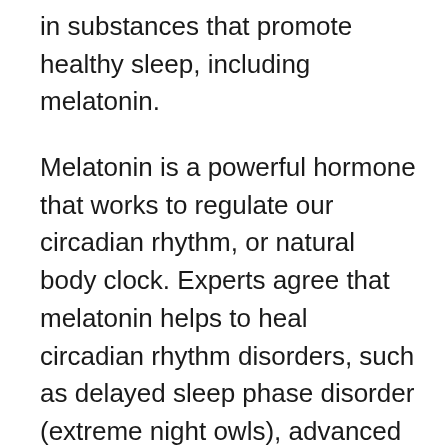in substances that promote healthy sleep, including melatonin.
Melatonin is a powerful hormone that works to regulate our circadian rhythm, or natural body clock. Experts agree that melatonin helps to heal circadian rhythm disorders, such as delayed sleep phase disorder (extreme night owls), advanced sleep phase disorder (extreme morning larks), or shift work disorder.
Our team of leading nutritionists and professional chefs selected 25